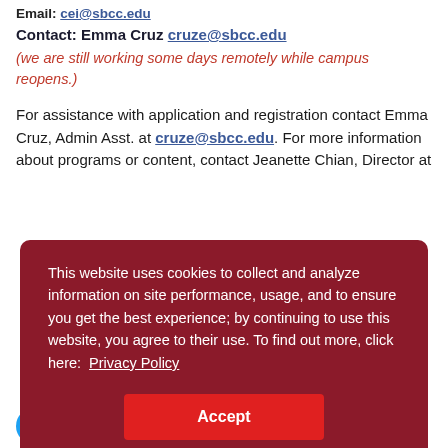Email: cei@sbcc.edu
Contact: Emma Cruz cruze@sbcc.edu
(we are still working some days remotely while campus reopens.)
For assistance with application and registration contact Emma Cruz, Admin Asst. at cruze@sbcc.edu. For more information about programs or content, contact Jeanette Chian, Director at
This website uses cookies to collect and analyze information on site performance, usage, and to ensure you get the best experience; by continuing to use this website, you agree to their use. To find out more, click here: Privacy Policy
Accept
@sbcced